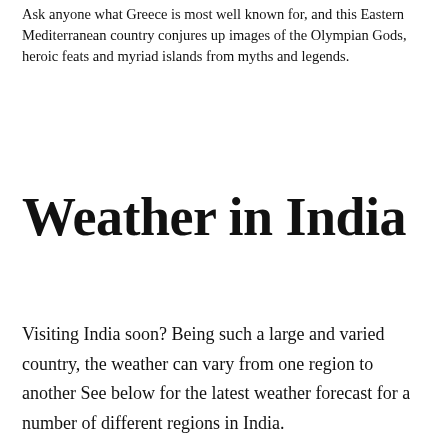Ask anyone what Greece is most well known for, and this Eastern Mediterranean country conjures up images of the Olympian Gods, heroic feats and myriad islands from myths and legends.
Weather in India
Visiting India soon? Being such a large and varied country, the weather can vary from one region to another See below for the latest weather forecast for a number of different regions in India.